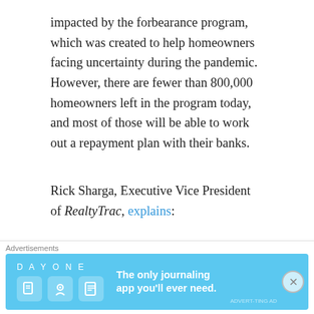impacted by the forbearance program, which was created to help homeowners facing uncertainty during the pandemic. However, there are fewer than 800,000 homeowners left in the program today, and most of those will be able to work out a repayment plan with their banks.
Rick Sharga, Executive Vice President of RealtyTrac, explains:
“The fact that foreclosure starts declined despite hundreds of thousands of borrowers exiting the CARES Act mortgage forbearance program over the
Advertisements
[Figure (other): Day One journaling app advertisement banner with light blue background, app icons, and tagline 'The only journaling app you'll ever need.']